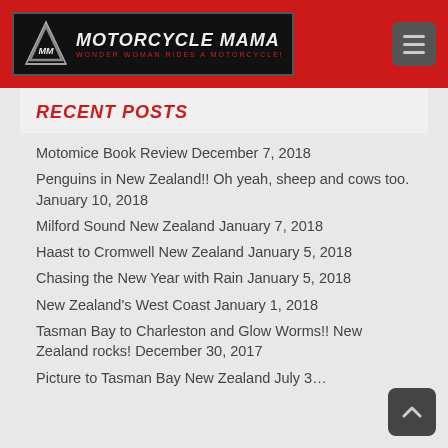MOTORCYCLE MAMA — WONDER WOMAN RIDES A MOTORCYCLE!
RECENT POSTS
Motomice Book Review December 7, 2018
Penguins in New Zealand!! Oh yeah, sheep and cows too. January 10, 2018
Milford Sound New Zealand January 7, 2018
Haast to Cromwell New Zealand January 5, 2018
Chasing the New Year with Rain January 5, 2018
New Zealand's West Coast January 1, 2018
Tasman Bay to Charleston and Glow Worms!! New Zealand rocks! December 30, 2017
Picture to Tasman Bay New Zealand July 3…